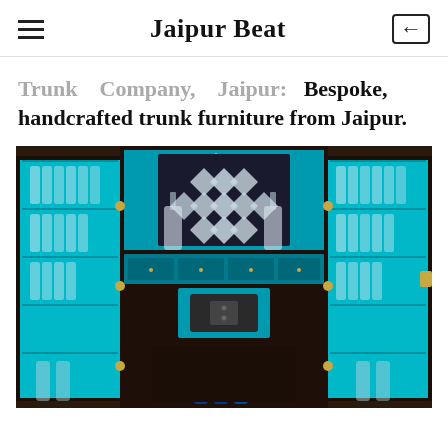Jaipur Beat
Trunk Company, Jaipur: Bespoke, handcrafted trunk furniture from Jaipur.
[Figure (photo): Open luxury bar cabinet with turquoise/teal velvet interior, diamond-patterned back panel in silver and black, multiple shelves holding crystal glassware on both open doors, two champagne bottles, a central Bluetooth speaker/device, and drawers with gold hardware. Exterior is dark brown crocodile-textured leather.]